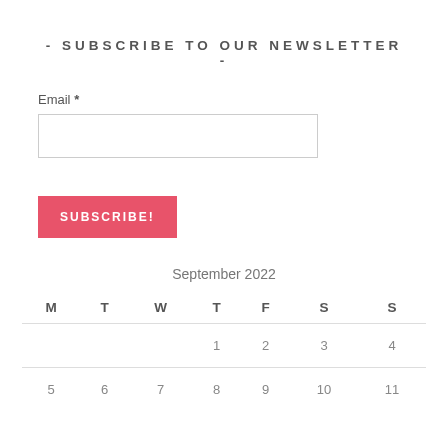- SUBSCRIBE TO OUR NEWSLETTER -
Email *
[Figure (other): Email input text field (empty)]
SUBSCRIBE!
September 2022
| M | T | W | T | F | S | S |
| --- | --- | --- | --- | --- | --- | --- |
|  |  |  | 1 | 2 | 3 | 4 |
| 5 | 6 | 7 | 8 | 9 | 10 | 11 |